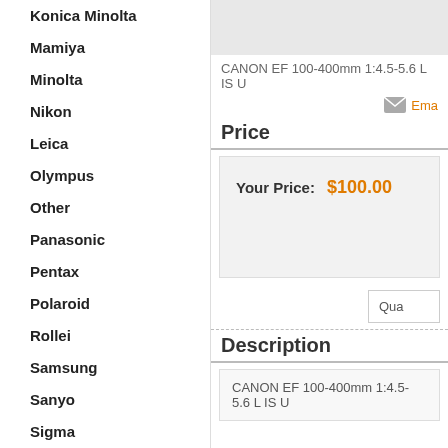Konica Minolta
Mamiya
Minolta
Nikon
Leica
Olympus
Other
Panasonic
Pentax
Polaroid
Rollei
Samsung
Sanyo
Sigma
Sony
Tamron
Tokina
CANON EF 100-400mm 1:4.5-5.6 L IS U
Ema
Price
Your Price: $100.00
Qua
Description
CANON EF 100-400mm 1:4.5-5.6 L IS U